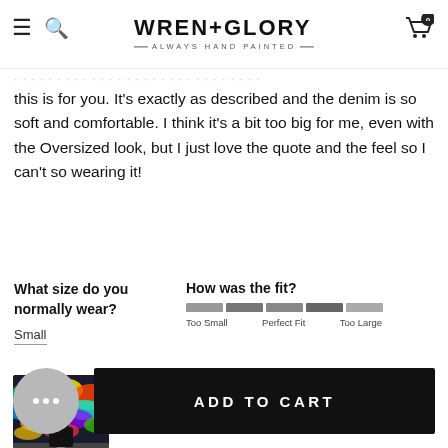WREN+GLORY ALWAYS HAND PAINTED
this is for you. It's exactly as described and the denim is so soft and comfortable. I think it's a bit too big for me, even with the Oversized look, but I just love the quote and the feel so I can't so wearing it!
What size do you normally wear?
Small
How was the fit? Too Small  Perfect Fit  Too Large
[Figure (photo): A photo of a person wearing a painted denim jacket, standing in a colorful tunnel with vibrant painted ceiling.]
ADD TO CART